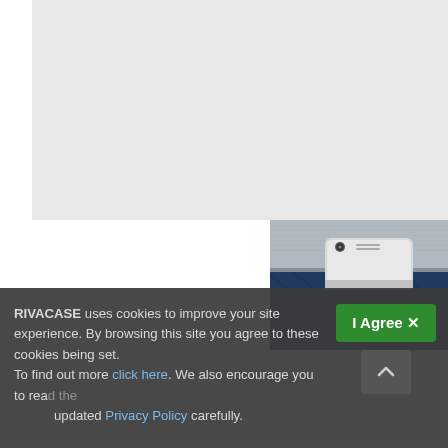[Figure (photo): Top portion: Light gray/white rectangle area (top of a product page). Below: Close-up photo of a RIVACASE backpack showing a gray fabric upper section and a navy blue lower pocket section, with a white smartphone inserted into an external pocket. The RIVACASE logo is visible in the lower right corner of the backpack.]
RIVACASE uses cookies to improve your site experience. By browsing this site you agree to these cookies being set. To find out more click here. We also encourage you to read the updated Privacy Policy carefully.